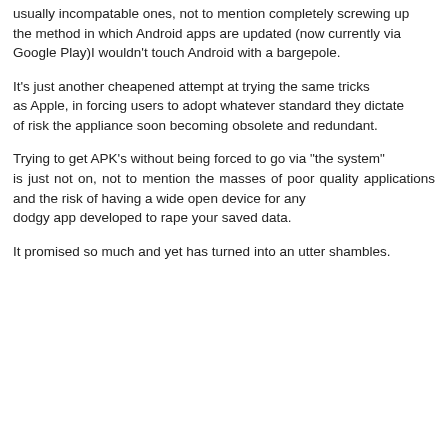usually incompatable ones, not to mention completely screwing up the method in which Android apps are updated (now currently via Google Play)I wouldn't touch Android with a bargepole.
It's just another cheapened attempt at trying the same tricks as Apple, in forcing users to adopt whatever standard they dictate of risk the appliance soon becoming obsolete and redundant.
Trying to get APK's without being forced to go via "the system" is just not on, not to mention the masses of poor quality applications and the risk of having a wide open device for any dodgy app developed to rape your saved data.
It promised so much and yet has turned into an utter shambles.